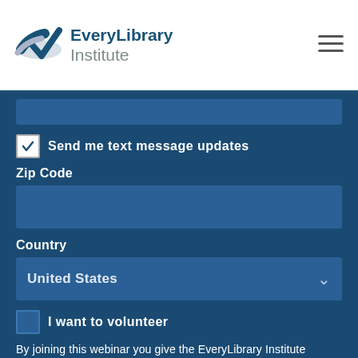EveryLibrary Institute
Send me text message updates
Zip Code
Country
United States
I want to volunteer
By joining this webinar you give the EveryLibrary Institute permission to contact you.
SHARE